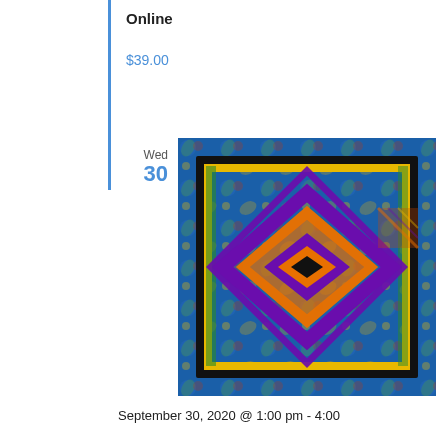Online
$39.00
Wed 30
[Figure (photo): Colorful quilt with geometric diamond pattern in purple, orange, yellow, green, and blue fabrics with floral prints]
September 30, 2020 @ 1:00 pm - 4:00